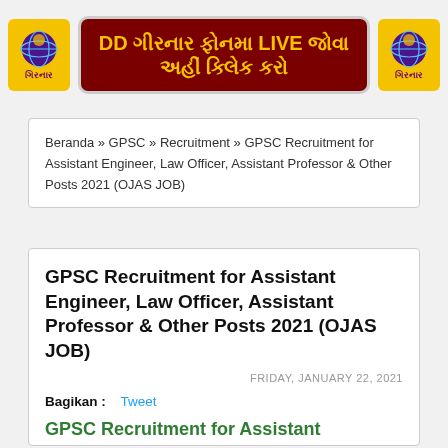[Figure (logo): DD Girnar logo and banner with Gujarati text: DD ગીરનાર ફોનમા LIVE જોવા અહીં ક્લિેક કરો]
Beranda » GPSC » Recruitment » GPSC Recruitment for Assistant Engineer, Law Officer, Assistant Professor & Other Posts 2021 (OJAS JOB)
GPSC Recruitment for Assistant Engineer, Law Officer, Assistant Professor & Other Posts 2021 (OJAS JOB)
FRIDAY, JANUARY 22, 2021
Bagikan :   Tweet
GPSC Recruitment for Assistant